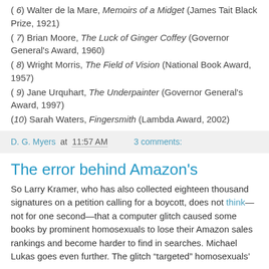( 6) Walter de la Mare, Memoirs of a Midget (James Tait Black Prize, 1921)
( 7) Brian Moore, The Luck of Ginger Coffey (Governor General's Award, 1960)
( 8) Wright Morris, The Field of Vision (National Book Award, 1957)
( 9) Jane Urquhart, The Underpainter (Governor General's Award, 1997)
(10) Sarah Waters, Fingersmith (Lambda Award, 2002)
D. G. Myers at 11:57 AM   3 comments:
The error behind Amazon's
So Larry Kramer, who has also collected eighteen thousand signatures on a petition calling for a boycott, does not think—not for one second—that a computer glitch caused some books by prominent homosexuals to lose their Amazon sales rankings and become harder to find in searches. Michael Lukas goes even further. The glitch "targeted" homosexuals'